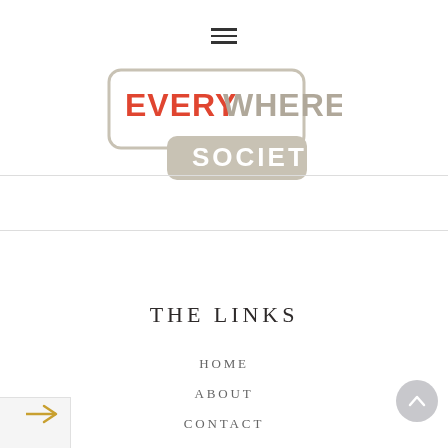[Figure (logo): Everywhere Society logo — speech bubble shape with 'EVERYWHERE' text in red/gray and 'SOCIETY' below in gray, inside rounded rectangle outline]
THE LINKS
HOME
ABOUT
CONTACT